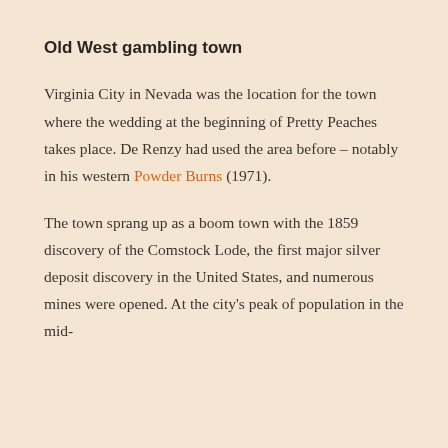Old West gambling town
Virginia City in Nevada was the location for the town where the wedding at the beginning of Pretty Peaches takes place. De Renzy had used the area before – notably in his western Powder Burns (1971).
The town sprang up as a boom town with the 1859 discovery of the Comstock Lode, the first major silver deposit discovery in the United States, and numerous mines were opened. At the city's peak of population in the mid-